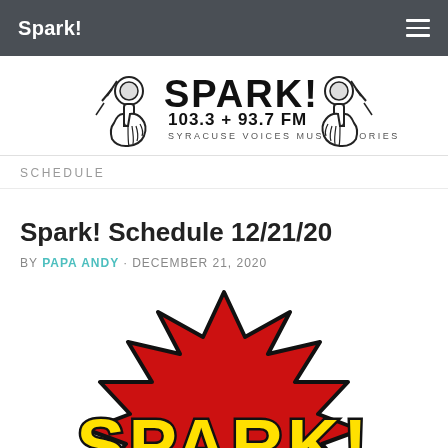Spark!
[Figure (logo): Spark! 103.3 + 93.7 FM Syracuse Voices Music Stories logo with two hands holding microphones]
SCHEDULE
Spark! Schedule 12/21/20
BY PAPA ANDY · DECEMBER 21, 2020
[Figure (logo): SPARK! comic book style pop-art logo in red and yellow]